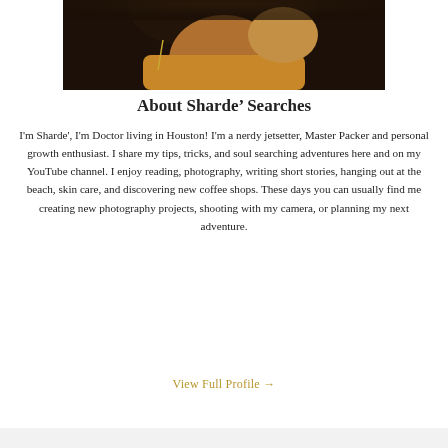[Figure (photo): Close-up portrait photo of a woman with natural hair and hoop earrings, wearing a golden/mustard top, hand near face]
About Sharde' Searches
I'm Sharde', I'm Doctor living in Houston! I'm a nerdy jetsetter, Master Packer and personal growth enthusiast. I share my tips, tricks, and soul searching adventures here and on my YouTube channel. I enjoy reading, photography, writing short stories, hanging out at the beach, skin care, and discovering new coffee shops. These days you can usually find me creating new photography projects, shooting with my camera, or planning my next adventure.
View Full Profile →